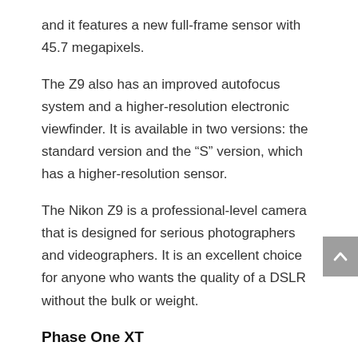and it features a new full-frame sensor with 45.7 megapixels.
The Z9 also has an improved autofocus system and a higher-resolution electronic viewfinder. It is available in two versions: the standard version and the “S” version, which has a higher-resolution sensor.
The Nikon Z9 is a professional-level camera that is designed for serious photographers and videographers. It is an excellent choice for anyone who wants the quality of a DSLR without the bulk or weight.
Phase One XT
With a sensor as large and powerful as 150MP, the Phase One XT is designed to capture every detail in your photographs. The system features super-high-resolution images combined with the ability to make